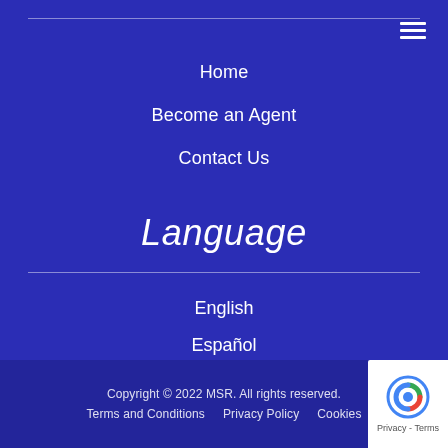Home
Become an Agent
Contact Us
Language
English
Español
Broker Portal Login >
Copyright © 2022 MSR. All rights reserved. Terms and Conditions Privacy Policy Cookies